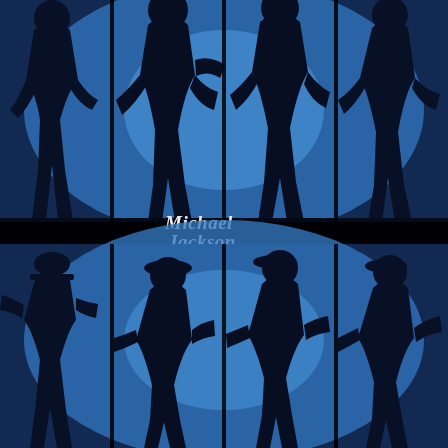[Figure (photo): Album cover or promotional image for Michael Jackson. The image is divided into two rows of four panels each, with dark vertical separators. Each panel shows a black silhouette of a dancer (Michael Jackson) in different poses against a vivid blue backlit background. The top row shows four silhouettes in various walking/dancing poses. Between rows there is a black horizontal band in the center of the image containing a white cursive signature reading 'Michael Jackson'. The bottom row shows four more silhouettes in different dancing poses including moonwalk-style movements, all with a glowing blue background.]